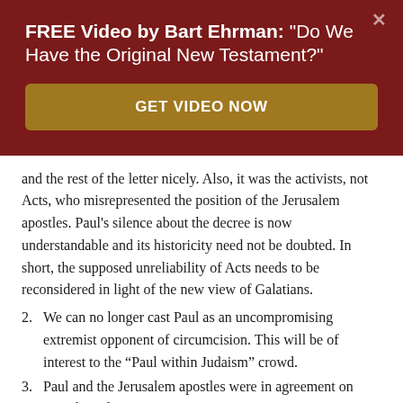FREE Video by Bart Ehrman: "Do We Have the Original New Testament?"
GET VIDEO NOW
and the rest of the letter nicely. Also, it was the activists, not Acts, who misrepresented the position of the Jerusalem apostles. Paul’s silence about the decree is now understandable and its historicity need not be doubted. In short, the supposed unreliability of Acts needs to be reconsidered in light of the new view of Galatians.
2. We can no longer cast Paul as an uncompromising extremist opponent of circumcision. This will be of interest to the “Paul within Judaism” crowd.
3. Paul and the Jerusalem apostles were in agreement on Gentile inclusion.
4. The identification of Titus as Timothy confirms